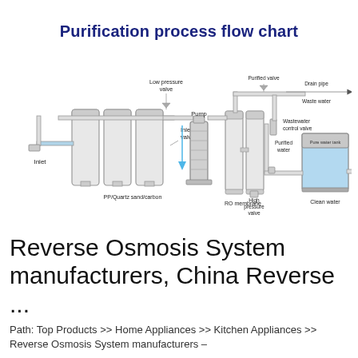Purification process flow chart
[Figure (engineering-diagram): Water purification process flow chart showing: Inlet, PP/Quartz sand/carbon filters, Low pressure valve, Inlet valve, Pump, RO membrane, Purified valve, Wastewater control valve, Drain pipe, Waste water outlet, Purified water, Pure water tank, High pressure valve, Clean water outlet.]
Reverse Osmosis System manufacturers, China Reverse ...
Path: Top Products >> Home Appliances >> Kitchen Appliances >> Reverse Osmosis System manufacturers –